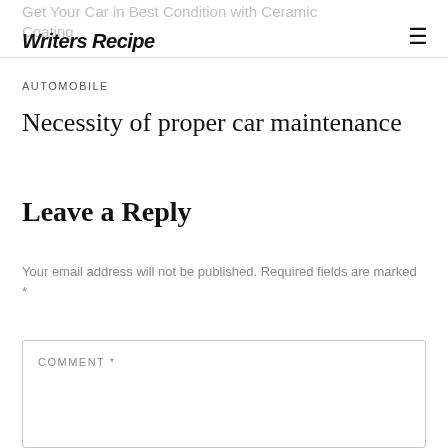Get Your Car in Best Condition with Ceramic Coating
Writers Recipe
AUTOMOBILE
Necessity of proper car maintenance
Leave a Reply
Your email address will not be published. Required fields are marked *
COMMENT *